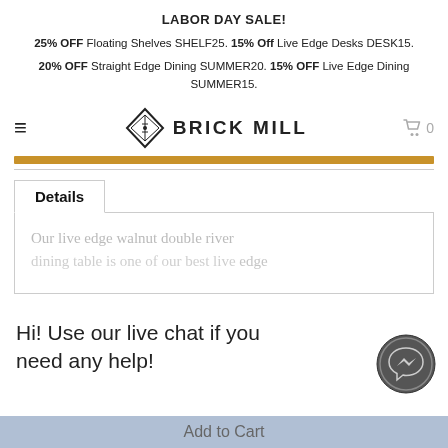LABOR DAY SALE! 25% OFF Floating Shelves SHELF25. 15% Off Live Edge Desks DESK15. 20% OFF Straight Edge Dining SUMMER20. 15% OFF Live Edge Dining SUMMER15.
[Figure (logo): Brick Mill logo with diamond/rhombus icon and bold text BRICK MILL]
Details
Our live edge walnut double river dining table is one of our best live edge
Hi! Use our live chat if you need any help!